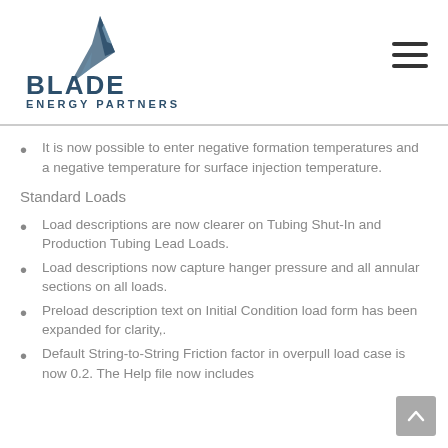[Figure (logo): Blade Energy Partners logo with stylized blade graphic above text reading BLADE ENERGY PARTNERS]
It is now possible to enter negative formation temperatures and a negative temperature for surface injection temperature.
Standard Loads
Load descriptions are now clearer on Tubing Shut-In and Production Tubing Lead Loads.
Load descriptions now capture hanger pressure and all annular sections on all loads.
Preload description text on Initial Condition load form has been expanded for clarity,.
Default String-to-String Friction factor in overpull load case is now 0.2. The Help file now includes